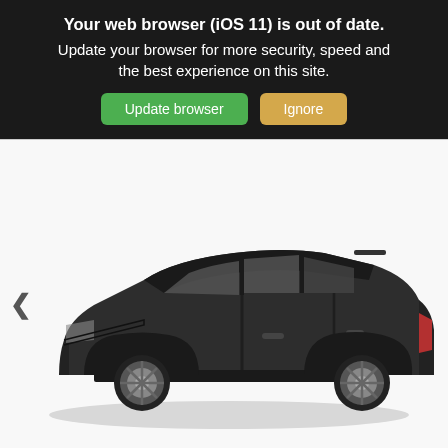Your web browser (iOS 11) is out of date. Update your browser for more security, speed and the best experience on this site.
Update browser
Ignore
[Figure (photo): Side profile photograph of a dark gray Honda HR-V SUV on a white background, with a navigation left arrow visible on the left side of the image area.]
Filter 530 Results ∧